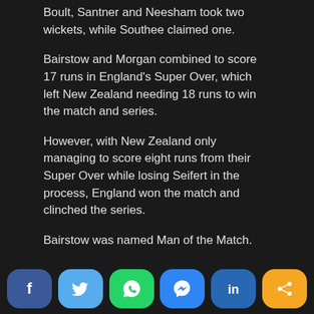Boult, Santner and Neesham took two wickets, while Southee claimed one.
Bairstow and Morgan combined to score 17 runs in England's Super Over, which left New Zealand needing 18 runs to win the match and series.
However, with New Zealand only managing to score eight runs from their Super Over while losing Seifert in the process, England won the match and clinched the series.
Bairstow was named Man of the Match.
Like this:
Like
Be the first to like this.
[Figure (infographic): Social sharing buttons: Facebook, Twitter, WhatsApp, Messenger, LinkedIn, Share]